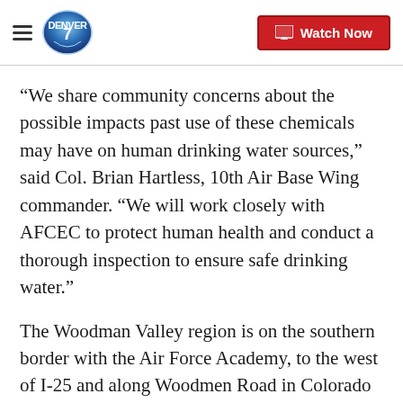Denver7 — Watch Now
“We share community concerns about the possible impacts past use of these chemicals may have on human drinking water sources,” said Col. Brian Hartless, 10th Air Base Wing commander. “We will work closely with AFCEC to protect human health and conduct a thorough inspection to ensure safe drinking water.”
The Woodman Valley region is on the southern border with the Air Force Academy, to the west of I-25 and along Woodmen Road in Colorado Springs.
News5 has reached out to the US Air Force Academy for further information on the inspections and the